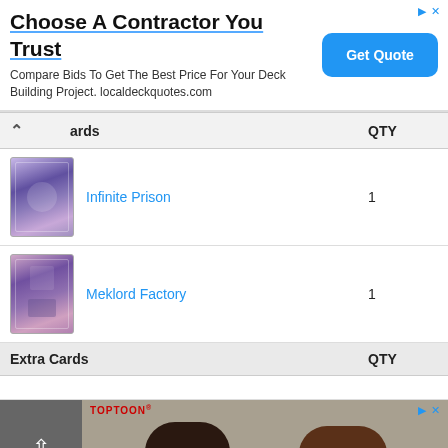[Figure (screenshot): Advertisement banner: 'Choose A Contractor You Trust. Compare Bids To Get The Best Price For Your Deck Building Project. localdeckquotes.com' with a blue 'Get Quote' button.]
| Cards | QTY |
| --- | --- |
| Infinite Prison | 1 |
| Meklord Factory | 1 |
| Extra Cards | QTY |
|  |  |
[Figure (screenshot): Bottom section with 'Top' button, Toptoon anime advertisement, and a bodenvy.com 'CoolSculpting Orlando' SIGN UP overlay ad.]